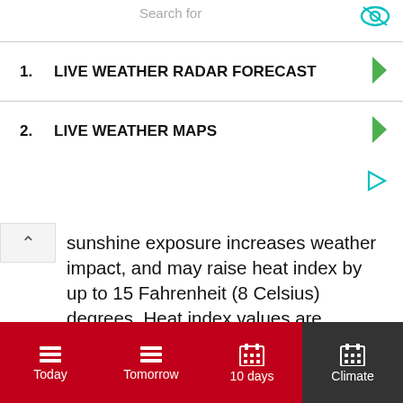Search for
1.  LIVE WEATHER RADAR FORECAST
2.  LIVE WEATHER MAPS
sunshine exposure increases weather impact, and may raise heat index by up to 15 Fahrenheit (8 Celsius) degrees. Heat index values are particularly important for children. Young children are generally more endangered than adults, as they usually less sweat. And also, due to larger skin surface relative to their small bodies and higher heat production as a result of their activity.
July
Today
Tomorrow
10 days
Climate